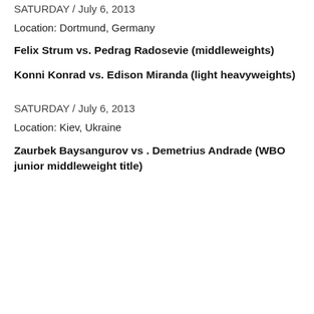SATURDAY / July 6, 2013
Location: Dortmund, Germany
Felix Strum vs. Pedrag Radosevie (middleweights)
Konni Konrad vs. Edison Miranda (light heavyweights)
SATURDAY / July 6, 2013
Location: Kiev, Ukraine
Zaurbek Baysangurov vs . Demetrius Andrade (WBO junior middleweight title)